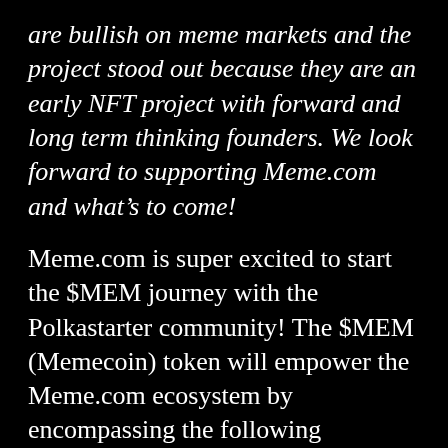are bullish on meme markets and the project stood out because they are an early NFT project with forward and long term thinking founders. We look forward to supporting Meme.com and what's to come!
Meme.com is super excited to start the $MEM journey with the Polkastarter community! The $MEM (Memecoin) token will empower the Meme.com ecosystem by encompassing the following functions:
Buying Meme Tokens in the Meme